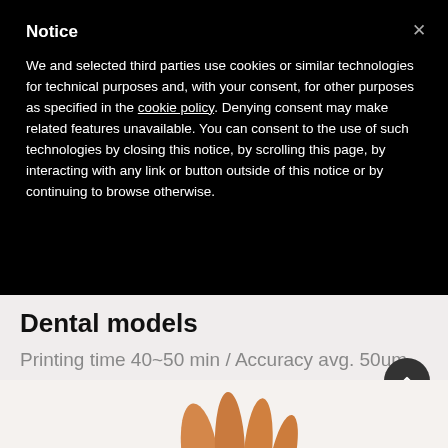Notice
We and selected third parties use cookies or similar technologies for technical purposes and, with your consent, for other purposes as specified in the cookie policy. Denying consent may make related features unavailable. You can consent to the use of such technologies by closing this notice, by scrolling this page, by interacting with any link or button outside of this notice or by continuing to browse otherwise.
Dental models
Printing time 40~50 min / Accuracy avg. 50um
[Figure (photo): Photo showing a dental model hand/fingers in orange/tan color against a light background]